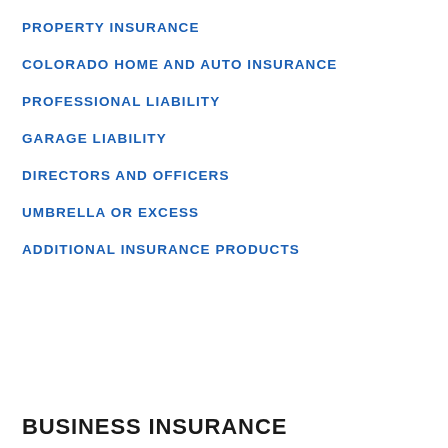PROPERTY INSURANCE
COLORADO HOME AND AUTO INSURANCE
PROFESSIONAL LIABILITY
GARAGE LIABILITY
DIRECTORS AND OFFICERS
UMBRELLA OR EXCESS
ADDITIONAL INSURANCE PRODUCTS
BUSINESS INSURANCE